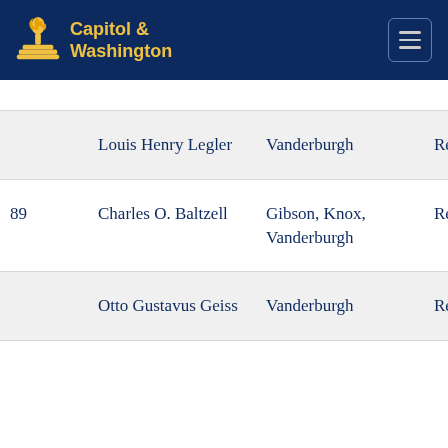[Figure (logo): Capitol & Washington logo with torch/flame icon in gold on dark navy header bar]
| # | Name | County | Party |
| --- | --- | --- | --- |
|  | Louis Henry Legler | Vanderburgh | Republican |
| 89 | Charles O. Baltzell | Gibson, Knox, Vanderburgh | Republican |
|  | Otto Gustavus Geiss | Vanderburgh | Republican |